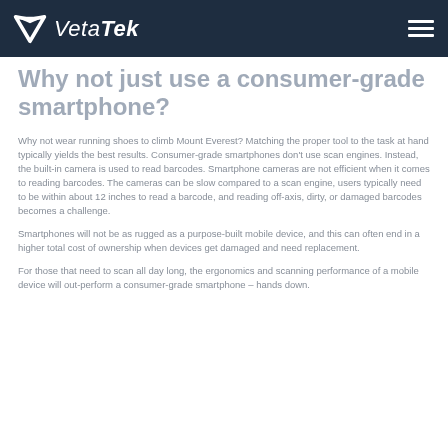VetaTek
Why not just use a consumer-grade smartphone?
Why not wear running shoes to climb Mount Everest? Matching the proper tool to the task at hand typically yields the best results. Consumer-grade smartphones don't use scan engines. Instead, the built-in camera is used to read barcodes. Smartphone cameras are not efficient when it comes to reading barcodes. The cameras can be slow compared to a scan engine, users typically need to be within about 12 inches to read a barcode, and reading off-axis, dirty, or damaged barcodes becomes a challenge.
Smartphones will not be as rugged as a purpose-built mobile device, and this can often end in a higher total cost of ownership when devices get damaged and need replacement.
For those that need to scan all day long, the ergonomics and scanning performance of a mobile device will out-perform a consumer-grade smartphone – hands down.